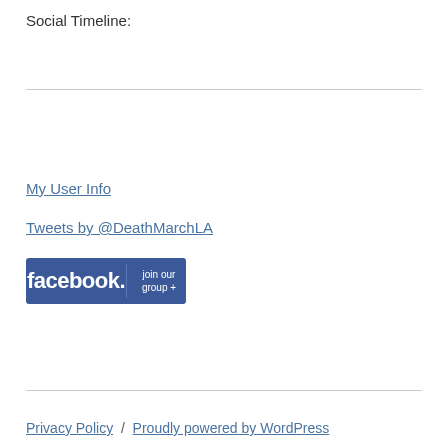Social Timeline:
My User Info
Tweets by @DeathMarchLA
[Figure (logo): Facebook 'join our group +' badge button with blue background]
Privacy Policy / Proudly powered by WordPress